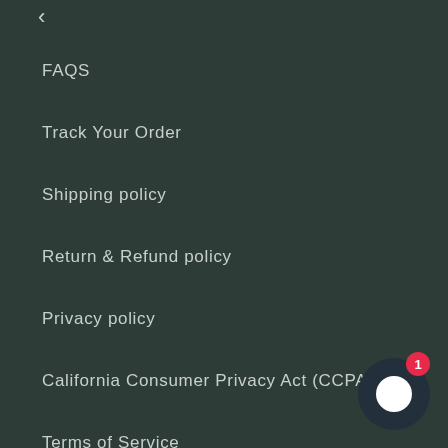FAQS
Track Your Order
Shipping policy
Return & Refund policy
Privacy policy
California Consumer Privacy Act (CCPA)
Terms of Service
Contact Us
About Us
[Figure (other): Chat widget button with notification badge showing 1 unread message]